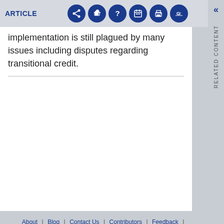ARTICLE
implementation is still plagued by many issues including disputes regarding transitional credit.
About | Blog | Contact Us | Contributors | Feedback | Free News Alerts | T&Cs | Your Privacy
Powered by Mondaq AI © Mondaq® Ltd 1994 - 2022. All Rights Reserved.